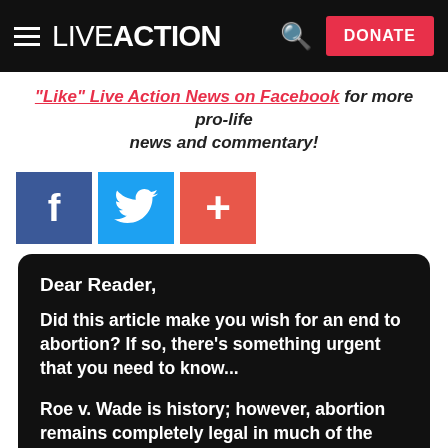LIVE ACTION — DONATE
"Like" Live Action News on Facebook for more pro-life news and commentary!
[Figure (other): Social share buttons: Facebook (blue), Twitter (light blue), Plus/Add (red-orange)]
Dear Reader,

Did this article make you wish for an end to abortion? If so, there’s something urgent that you need to know...

Roe v. Wade is history; however, abortion remains completely legal in much of the country, and close to a million babies are still at risk of being brutally killed for profit this year.